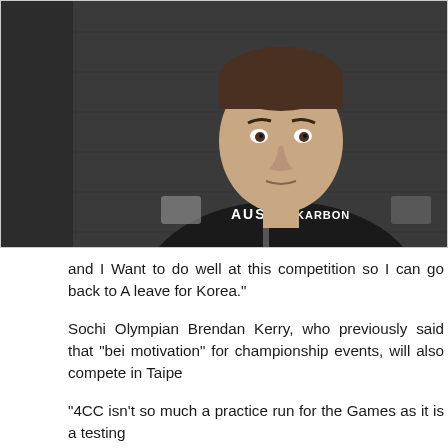[Figure (photo): A young male athlete wearing a black AUS (Australia) team jacket with KARBON branding, seated against a dark brick wall background. Portrait-style photo.]
and I Want to do well at this competition so I can go back to A leave for Korea."
Sochi Olympian Brendan Kerry, who previously said that "bei motivation" for championship events, will also compete in Taipe
"4CC isn't so much a practice run for the Games as it is a testing